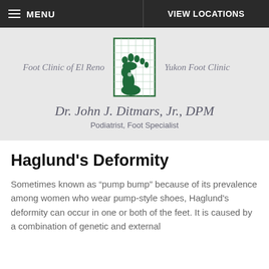MENU   VIEW LOCATIONS
[Figure (logo): Green foot clinic logo with foot silhouette on grid background, flanked by 'Foot Clinic of El Reno' on the left and 'Yukon Foot Clinic' on the right]
Dr. John J. Ditmars, Jr., DPM
Podiatrist, Foot Specialist
Haglund’s Deformity
Sometimes known as “pump bump” because of its prevalence among women who wear pump-style shoes, Haglund's deformity can occur in one or both of the feet. It is caused by a combination of genetic and external